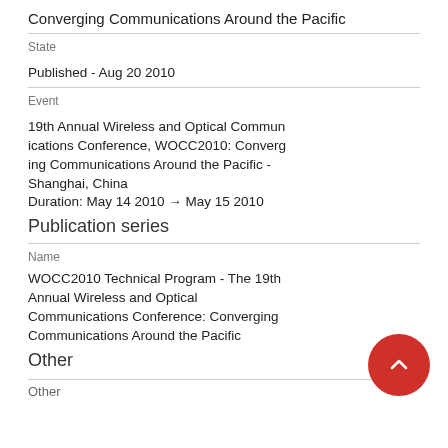Converging Communications Around the Pacific
State
Published - Aug 20 2010
Event
19th Annual Wireless and Optical Communications Conference, WOCC2010: Converging Communications Around the Pacific - Shanghai, China
Duration: May 14 2010 → May 15 2010
Publication series
Name
WOCC2010 Technical Program - The 19th Annual Wireless and Optical Communications Conference: Converging Communications Around the Pacific
Other
Other